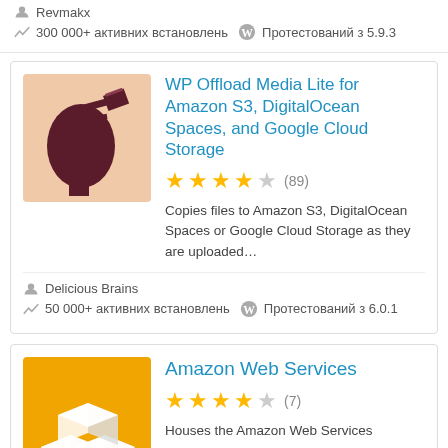Revmakx
300 000+ активних встановлень  Протестований з 5.9.3
[Figure (illustration): Plugin icon: silhouette of human head with brain/data visualization on peach background]
WP Offload Media Lite for Amazon S3, DigitalOcean Spaces, and Google Cloud Storage
★★★★☆ (89)
Copies files to Amazon S3, DigitalOcean Spaces or Google Cloud Storage as they are uploaded...
Delicious Brains
50 000+ активних встановлень  Протестований з 6.0.1
[Figure (illustration): Plugin icon: white 3D boxes on orange/yellow background (Amazon Web Services)]
Amazon Web Services
★★★★☆ (7)
Houses the Amazon Web Services